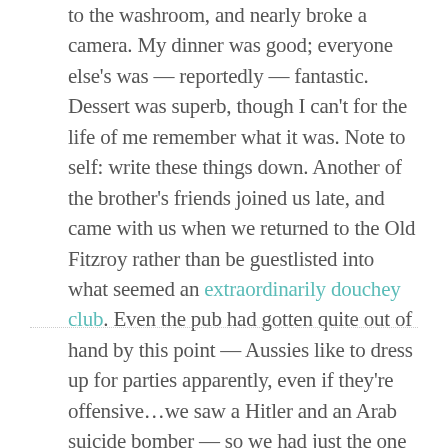to the washroom, and nearly broke a camera. My dinner was good; everyone else's was — reportedly — fantastic. Dessert was superb, though I can't for the life of me remember what it was. Note to self: write these things down. Another of the brother's friends joined us late, and came with us when we returned to the Old Fitzroy rather than be guestlisted into what seemed an extraordinarily douchey club. Even the pub had gotten quite out of hand by this point — Aussies like to dress up for parties apparently, even if they're offensive…we saw a Hitler and an Arab suicide bomber — so we had just the one and buggered off home to pack for the next morning's flight.